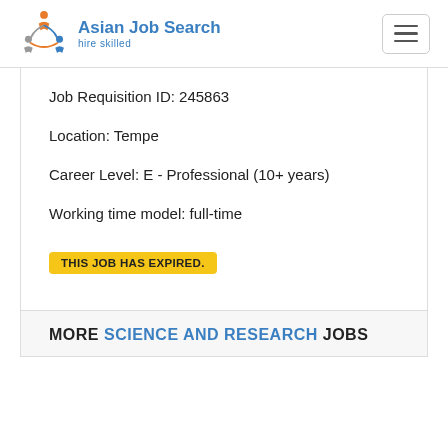Asian Job Search hire skilled
Job Requisition ID: 245863
Location: Tempe
Career Level: E - Professional (10+ years)
Working time model: full-time
THIS JOB HAS EXPIRED.
MORE SCIENCE AND RESEARCH JOBS